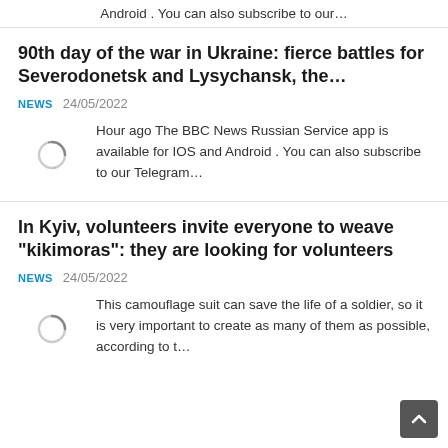Android . You can also subscribe to our…
90th day of the war in Ukraine: fierce battles for Severodonetsk and Lysychansk, the…
NEWS  24/05/2022
Hour ago The BBC News Russian Service app is available for IOS and Android . You can also subscribe to our Telegram…
In Kyiv, volunteers invite everyone to weave "kikimoras": they are looking for volunteers
NEWS  24/05/2022
This camouflage suit can save the life of a soldier, so it is very important to create as many of them as possible, according to t…